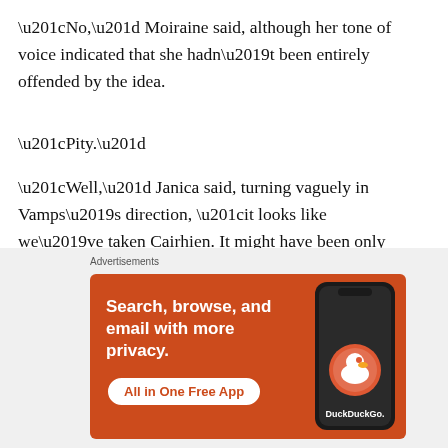“No,” Moiraine said, although her tone of voice indicated that she hadn’t been entirely offended by the idea.
“Pity.”
“Well,” Janica said, turning vaguely in Vamps’s direction, “it looks like we’ve taken Cairhien. It might have been only because the enemy wanted to give it to us, but that’s okay. We’ll take it. Right?”
“Right,” Vamps said, cheering up a little bit and even managing a small chesty-puff. “Right, let’s get busy,” he
[Figure (other): DuckDuckGo advertisement banner with orange background showing text 'Search, browse, and email with more privacy. All in One Free App' with a phone mockup and DuckDuckGo logo]